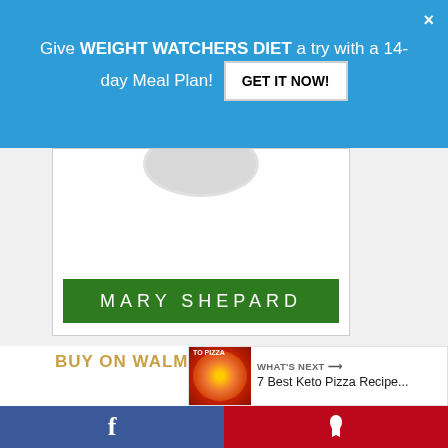Give WEIGHT WATCHERS DIET a try with a 14-day Meal Plan! GET IT NOW!
[Figure (photo): Partial view of a book cover showing a plate at the top and a green author bar reading MARY SHEPARD]
BUY ON WALMART
[Figure (infographic): Social sidebar with heart icon showing 53.9K likes and a share button]
[Figure (infographic): What's Next panel with thumbnail and text: 7 Best Keto Pizza Recipe...]
[Figure (infographic): Bottom navigation bar with Facebook and Pinterest share buttons]